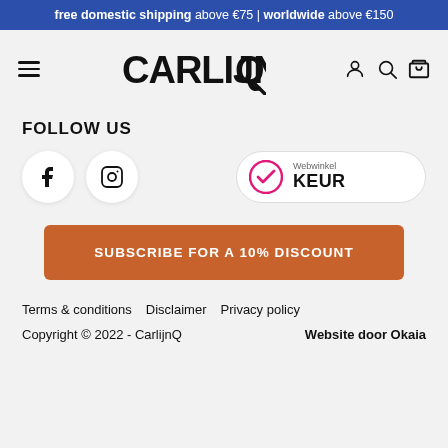free domestic shipping above €75 | worldwide above €150
[Figure (logo): CarlijnQ brand logo with hamburger menu icon and navigation icons (user, search, bag)]
FOLLOW US
[Figure (infographic): Facebook and Instagram social media icons in white circles, and Webwinkel KEUR badge on the right]
SUBSCRIBE FOR A 10% DISCOUNT
Terms & conditions   Disclaimer   Privacy policy
Copyright © 2022 - CarlijnQ
Website door Okaia